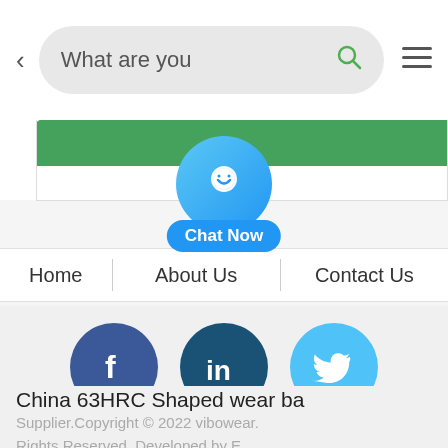[Figure (screenshot): Mobile browser top bar with back arrow, search box showing 'What are you' and search icon, and hamburger menu icon]
[Figure (screenshot): Partial green navigation/button bar visible at the top of a website]
[Figure (screenshot): Blue circular chat button with smiley face icon and 'Chat Now' label]
Home | About Us | Contact Us
[Figure (screenshot): Social media icons: Facebook (dark blue), LinkedIn (dark teal), Twitter (light blue)]
China 63HRC Shaped wear ba
Supplier.Copyright © 2022 vibowear. Rights Reserved. Developed by E